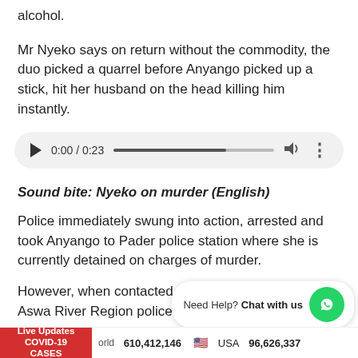alcohol.
Mr Nyeko says on return without the commodity, the duo picked a quarrel before Anyango picked up a stick, hit her husband on the head killing him instantly.
[Figure (other): Audio player showing 0:00 / 0:23 with play button, progress bar, volume icon and more options icon]
Sound bite: Nyeko on murder (English)
Police immediately swung into action, arrested and took Anyango to Pader police station where she is currently detained on charges of murder.
However, when contacted, Mr. Jimmy Patrick Okoma Aswa River Region police s va et
[Figure (other): WhatsApp chat overlay: Need Help? Chat with us]
Live Updates COVID-19 CASES   World 610,412,146   USA 96,626,337